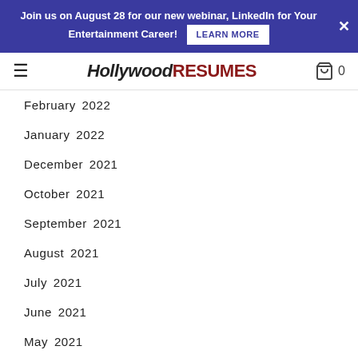Join us on August 28 for our new webinar, LinkedIn for Your Entertainment Career! LEARN MORE
Hollywood RESUMES
February 2022
January 2022
December 2021
October 2021
September 2021
August 2021
July 2021
June 2021
May 2021
April 2021